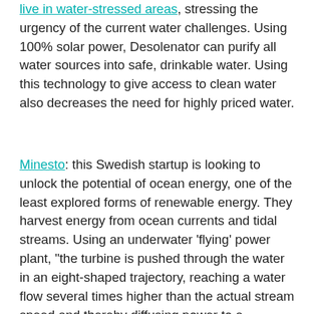live in water-stressed areas, stressing the urgency of the current water challenges. Using 100% solar power, Desolenator can purify all water sources into safe, drinkable water. Using this technology to give access to clean water also decreases the need for highly priced water.
Minesto: this Swedish startup is looking to unlock the potential of ocean energy, one of the least explored forms of renewable energy. They harvest energy from ocean currents and tidal streams. Using an underwater 'flying' power plant, "the turbine is pushed through the water in an eight-shaped trajectory, reaching a water flow several times higher than the actual stream speed and thereby diffusing power to a generator". Minesto is currently working with Faroe Islands in their ambitious plans for 100%